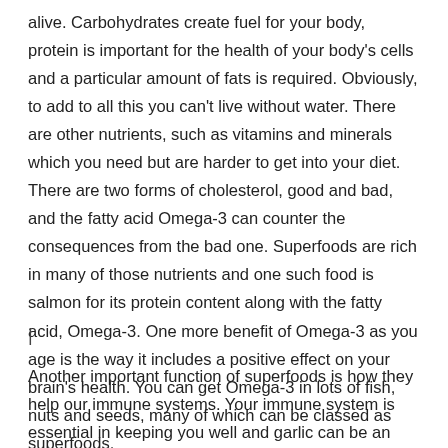alive. Carbohydrates create fuel for your body, protein is important for the health of your body's cells and a particular amount of fats is required. Obviously, to add to all this you can't live without water. There are other nutrients, such as vitamins and minerals which you need but are harder to get into your diet. There are two forms of cholesterol, good and bad, and the fatty acid Omega-3 can counter the consequences from the bad one. Superfoods are rich in many of those nutrients and one such food is salmon for its protein content along with the fatty acid, Omega-3. One more benefit of Omega-3 as you age is the way it includes a positive effect on your brain's health. You can get Omega-3 in lots of fish, nuts and seeds, many of which can be classed as superfoods.
|
Another important function of superfoods is how they help our immune systems. Your immune system is essential in keeping you well and garlic can be an case of a superfood which will help. Your